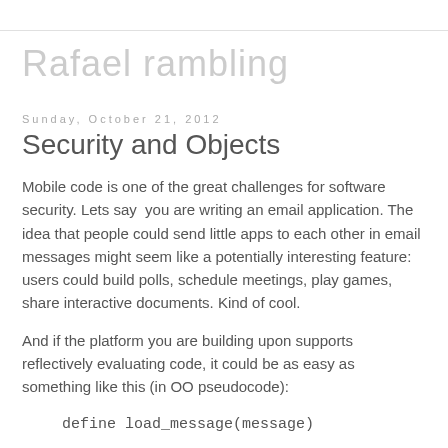Rafael rambling
Sunday, October 21, 2012
Security and Objects
Mobile code is one of the great challenges for software security. Lets say  you are writing an email application. The idea that people could send little apps to each other in email messages might seem like a potentially interesting feature: users could build polls, schedule meetings, play games, share interactive documents. Kind of cool.
And if the platform you are building upon supports reflectively evaluating code, it could be as easy as something like this (in OO pseudocode):
define load_message(message)

    ...
    eval(message.code)